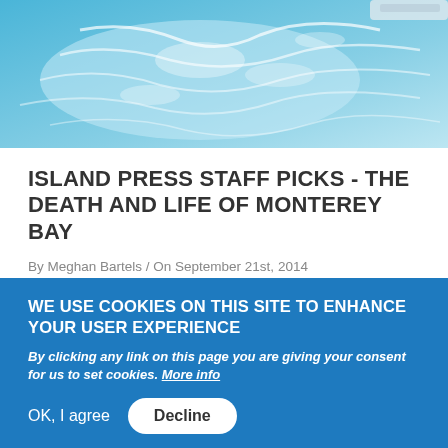[Figure (photo): Aerial or close-up view of blue ocean water with white foam/wake patterns]
ISLAND PRESS STAFF PICKS - THE DEATH AND LIFE OF MONTEREY BAY
By Meghan Bartels / On September 21st, 2014
MORE
WE USE COOKIES ON THIS SITE TO ENHANCE YOUR USER EXPERIENCE
By clicking any link on this page you are giving your consent for us to set cookies. More info
OK, I agree
Decline